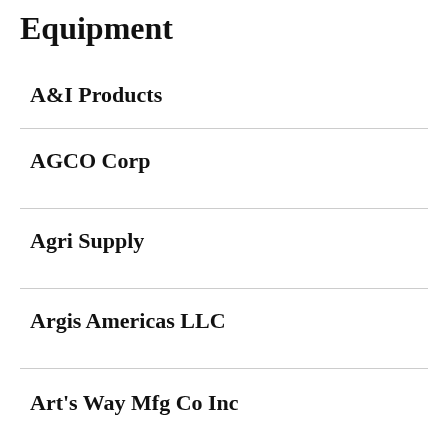Equipment
A&I Products
AGCO Corp
Agri Supply
Argis Americas LLC
Art's Way Mfg Co Inc